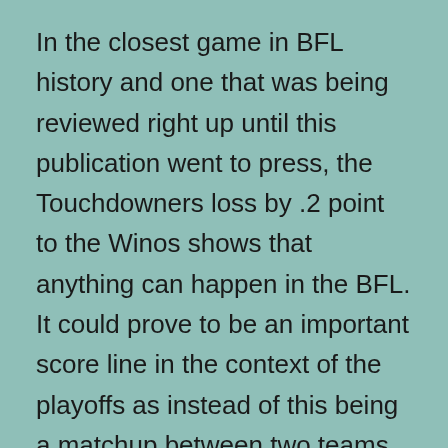In the closest game in BFL history and one that was being reviewed right up until this publication went to press, the Touchdowners loss by .2 point to the Winos shows that anything can happen in the BFL. It could prove to be an important score line in the context of the playoffs as instead of this being a matchup between two teams on 6-5, a loss for the Touchdowners would perhaps put them out of contention. It's a good thing that they have an offense that has petrified the Clowns GM this week. The Clowns GM noted that it feels dirty to root against his man crush Tom Brady this week, but he would hope that the Ravens...